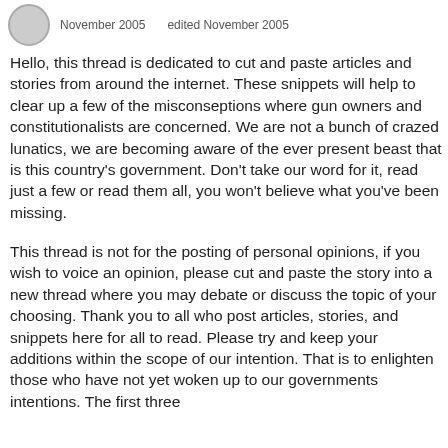November 2005   edited November 2005
Hello, this thread is dedicated to cut and paste articles and stories from around the internet. These snippets will help to clear up a few of the misconseptions where gun owners and constitutionalists are concerned. We are not a bunch of crazed lunatics, we are becoming aware of the ever present beast that is this country's government. Don't take our word for it, read just a few or read them all, you won't believe what you've been missing.
This thread is not for the posting of personal opinions, if you wish to voice an opinion, please cut and paste the story into a new thread where you may debate or discuss the topic of your choosing. Thank you to all who post articles, stories, and snippets here for all to read. Please try and keep your additions within the scope of our intention. That is to enlighten those who have not yet woken up to our governments intentions. The first three